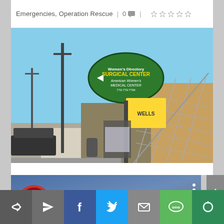Emergencies, Operation Rescue | 0 💬 | ☆☆☆☆☆
[Figure (photo): Street-level photo of American Women's Medical Center / Women's Directory Surgical Center, showing a green oval sign with the clinic name, a yellow sign, utility poles, a chain-link fence, and a sidewalk with a bus shelter and trash can.]
[Figure (screenshot): YouTube video thumbnail showing Operation Rescue logo and title 'Woman Transported by Amb...' with a three-dot menu icon, overlaid on a street scene matching the photo above.]
Share bar with icons: share/forward, send, Facebook, Twitter, email, SMS, reload